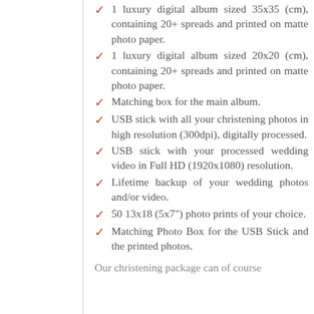1 luxury digital album sized 35x35 (cm), containing 20+ spreads and printed on matte photo paper.
1 luxury digital album sized 20x20 (cm), containing 20+ spreads and printed on matte photo paper.
Matching box for the main album.
USB stick with all your christening photos in high resolution (300dpi), digitally processed.
USB stick with your processed wedding video in Full HD (1920x1080) resolution.
Lifetime backup of your wedding photos and/or video.
50 13x18 (5x7") photo prints of your choice.
Matching Photo Box for the USB Stick and the printed photos.
Our christening package can of course